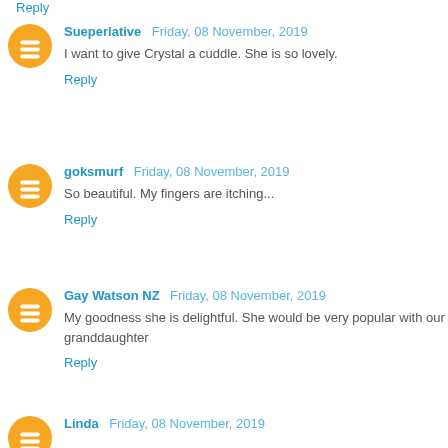Reply
Sueperlative  Friday, 08 November, 2019
I want to give Crystal a cuddle. She is so lovely.
Reply
goksmurf  Friday, 08 November, 2019
So beautiful. My fingers are itching...
Reply
Gay Watson NZ  Friday, 08 November, 2019
My goodness she is delightful. She would be very popular with our granddaughter
Reply
Linda  Friday, 08 November, 2019